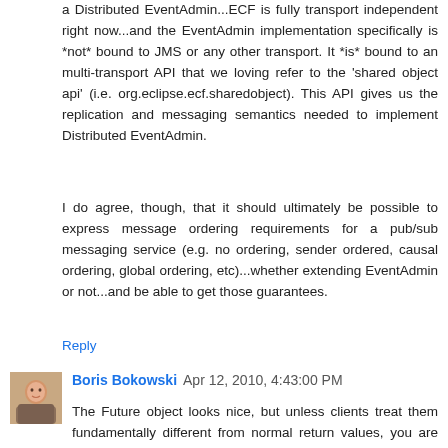a Distributed EventAdmin...ECF is fully transport independent right now...and the EventAdmin implementation specifically is *not* bound to JMS or any other transport. It *is* bound to an multi-transport API that we loving refer to the 'shared object api' (i.e. org.eclipse.ecf.sharedobject). This API gives us the replication and messaging semantics needed to implement Distributed EventAdmin.
I do agree, though, that it should ultimately be possible to express message ordering requirements for a pub/sub messaging service (e.g. no ordering, sender ordered, causal ordering, global ordering, etc)...whether extending EventAdmin or not...and be able to get those guarantees.
Reply
Boris Bokowski Apr 12, 2010, 4:43:00 PM
The Future object looks nice, but unless clients treat them fundamentally different from normal return values, you are still pretty much in the same situation. Using (almost) your words: "Using Future objects your thread will block for...